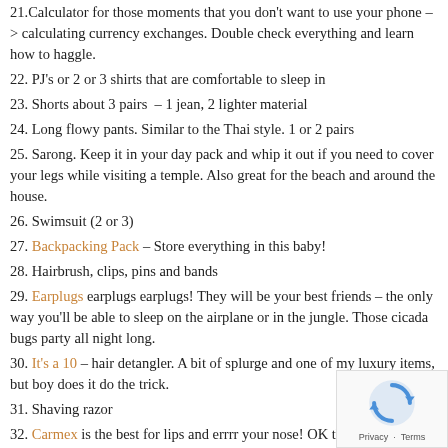21. Calculator for those moments that you don't want to use your phone –> calculating currency exchanges. Double check everything and learn how to haggle.
22. PJ's or 2 or 3 shirts that are comfortable to sleep in
23. Shorts about 3 pairs  – 1 jean, 2 lighter material
24. Long flowy pants. Similar to the Thai style. 1 or 2 pairs
25. Sarong. Keep it in your day pack and whip it out if you need to cover your legs while visiting a temple. Also great for the beach and around the house.
26. Swimsuit (2 or 3)
27. Backpacking Pack – Store everything in this baby!
28. Hairbrush, clips, pins and bands
29. Earplugs earplugs earplugs! They will be your best friends – the only way you'll be able to sleep on the airplane or in the jungle. Those cicada bugs party all night long.
30. It's a 10 – hair detangler. A bit of splurge and one of my luxury items, but boy does it do the trick.
31. Shaving razor
32. Carmex is the best for lips and errrr your nose! OK this might be TMI, but the inside of my nose gets super dry on long flights (hurts to breathe through it), so freshen up in the bathroom – put a little carmex on a Q-tip and coat the inside of